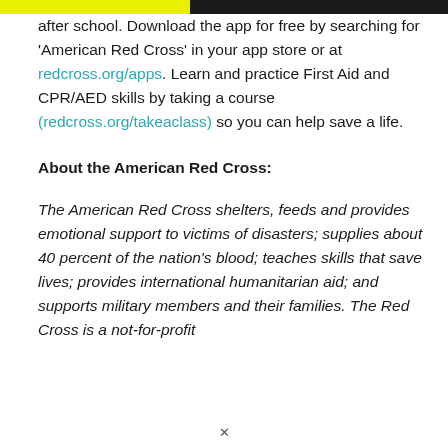after school. Download the app for free by searching for 'American Red Cross' in your app store or at redcross.org/apps. Learn and practice First Aid and CPR/AED skills by taking a course (redcross.org/takeaclass) so you can help save a life.
About the American Red Cross:
The American Red Cross shelters, feeds and provides emotional support to victims of disasters; supplies about 40 percent of the nation's blood; teaches skills that save lives; provides international humanitarian aid; and supports military members and their families. The Red Cross is a not-for-profit